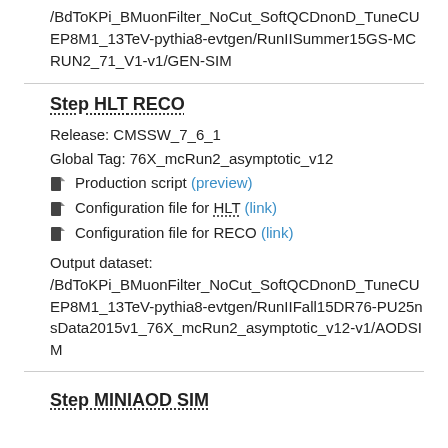/BdToKPi_BMuonFilter_NoCut_SoftQCDnonD_TuneCUEP8M1_13TeV-pythia8-evtgen/RunIISummer15GS-MCRUN2_71_V1-v1/GEN-SIM
Step HLT RECO
Release: CMSSW_7_6_1
Global Tag: 76X_mcRun2_asymptotic_v12
Production script (preview)
Configuration file for HLT (link)
Configuration file for RECO (link)
Output dataset: /BdToKPi_BMuonFilter_NoCut_SoftQCDnonD_TuneCUEP8M1_13TeV-pythia8-evtgen/RunIIFall15DR76-PU25nsData2015v1_76X_mcRun2_asymptotic_v12-v1/AODSIM
Step MINIAOD SIM